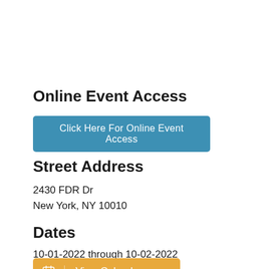Online Event Access
Click Here For Online Event Access
Street Address
2430 FDR Dr
New York, NY 10010
Dates
10-01-2022 through 10-02-2022
View Calendar